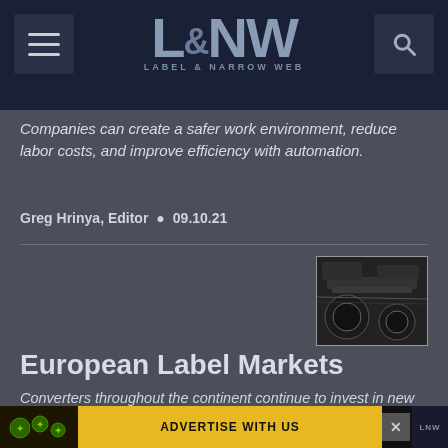L&NW Label & Narrow Web
Companies can create a safer work environment, reduce labor costs, and improve efficiency with automation.
Greg Hrinya, Editor • 09.10.21
[Figure (photo): Thumbnail photo of printing/label press machinery in black and white]
European Label Markets
Converters throughout the continent continue to invest in new presses, facilities and M&A activity.
Steve Katz, Associate Editor • 09.10.21
[Figure (other): Advertisement banner: ADVERTISE WITH US, LNW logo]